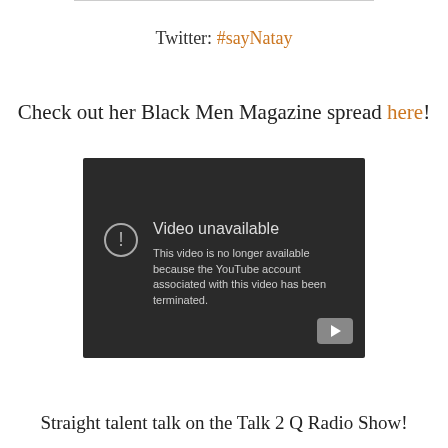Twitter: #sayNatay
Check out her Black Men Magazine spread here!
[Figure (screenshot): YouTube video unavailable error screen with dark background, warning icon, text 'Video unavailable - This video is no longer available because the YouTube account associated with this video has been terminated.' and a YouTube play button in the bottom right corner.]
Straight talent talk on the Talk 2 Q Radio Show!